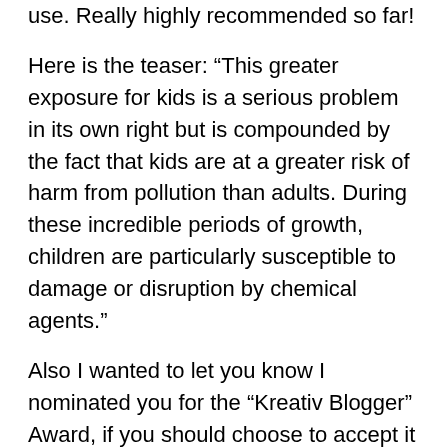use. Really highly recommended so far!
Here is the teaser: “This greater exposure for kids is a serious problem in its own right but is compounded by the fact that kids are at a greater risk of harm from pollution than adults. During these incredible periods of growth, children are particularly susceptible to damage or disruption by chemical agents.”
Also I wanted to let you know I nominated you for the “Kreativ Blogger” Award, if you should choose to accept it 🙂
You can read about it here:
http://evolvingscenes.com/posts/458/did-someone-say-award